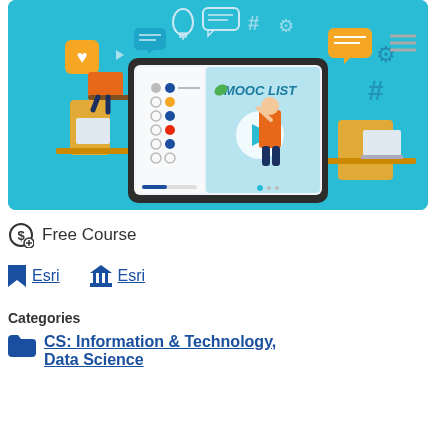[Figure (illustration): MOOC List promotional illustration with a large tablet/computer screen showing 'MOOC LIST' text with a play button and a presenter figure. Surrounding the screen are students studying, social media icons, speech bubbles, hashtags, gear icons, and other digital learning symbols on a teal/cyan background.]
Free Course
Esri   Esri
Categories
CS: Information & Technology, Data Science